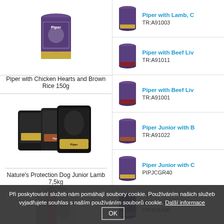[Figure (photo): Product photo of Piper dog food can]
Piper with Chicken Hearts and Brown Rice 150g
[Figure (photo): Product photo of Piper dog food pouches multi-pack]
Nature's Protection Dog Junior Lamb 7,5kg
[Figure (photo): Product photo of Nature's Protection dog food bag]
[Figure (photo): Small product thumbnail of Piper with Lamb can]
Piper with Lamb, C
TR:A91003
[Figure (photo): Small product thumbnail of Piper with Beef Liver can]
Piper with Beef Liv
TR:A91011
[Figure (photo): Small product thumbnail of Piper with Beef Liver can]
Piper with Beef Liv
TR:A91001
[Figure (photo): Small product thumbnail of Piper Junior with B can]
Piper Junior with B
TR:A91022
[Figure (photo): Small product thumbnail of Piper Junior with C]
Piper Junior with C
PIPJCGR40
[Figure (photo): Small product thumbnail of Piper Junior with V]
Piper Junior with V
PIPJVA400
TR:A91018
Při poskytování služeb nám pomáhají soubory cookie. Používáním našich služeb vyjadřujete souhlas s naším používáním souborů cookie. Další informace OK